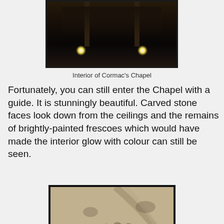[Figure (photo): Interior of Cormac's Chapel, dark stone vaulted ceiling with two glowing lights visible]
Interior of Cormac's Chapel
Fortunately, you can still enter the Chapel with a guide. It is stunningly beautiful. Carved stone faces look down from the ceilings and the remains of brightly-painted frescoes which would have made the interior glow with colour can still be seen.
[Figure (photo): Close-up of carved stone faces and architectural details of Cormac's Chapel, showing weathered stone arches with small sculpted heads]